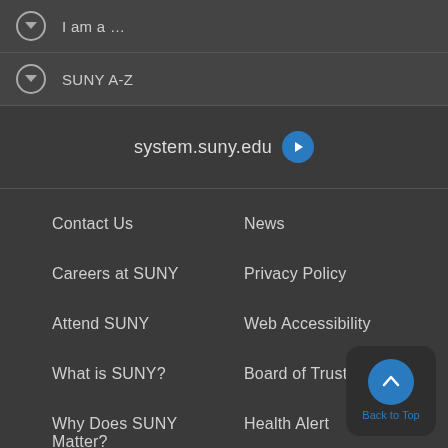I am a …
SUNY A-Z
system.suny.edu
Contact Us
News
Careers at SUNY
Privacy Policy
Attend SUNY
Web Accessibility
What is SUNY?
Board of Trustees
Why Does SUNY Matter?
Health Alert
Back to Top